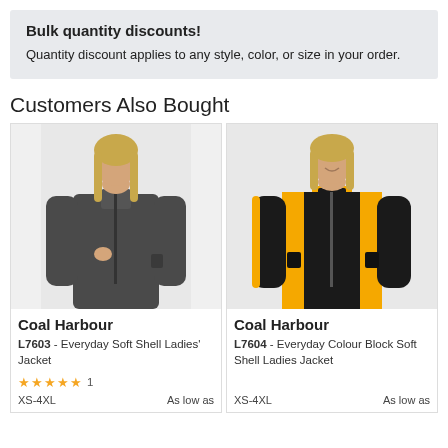Bulk quantity discounts! Quantity discount applies to any style, color, or size in your order.
Customers Also Bought
[Figure (photo): Woman wearing a dark charcoal/grey zip-up soft shell ladies' jacket, Coal Harbour L7603]
Coal Harbour L7603 - Everyday Soft Shell Ladies' Jacket
★★★★★ 1
XS-4XL   As low as
[Figure (photo): Woman wearing a black and yellow/gold colour block soft shell ladies' jacket, Coal Harbour L7604]
Coal Harbour L7604 - Everyday Colour Block Soft Shell Ladies Jacket
XS-4XL   As low as